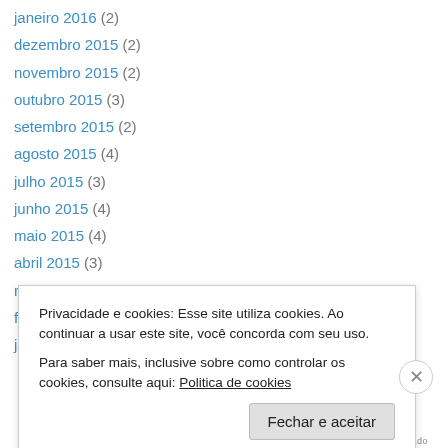janeiro 2016 (2)
dezembro 2015 (2)
novembro 2015 (2)
outubro 2015 (3)
setembro 2015 (2)
agosto 2015 (4)
julho 2015 (3)
junho 2015 (4)
maio 2015 (4)
abril 2015 (3)
março 2015 (6)
fevereiro 2015 (3)
janeiro 2015 (2)
Privacidade e cookies: Esse site utiliza cookies. Ao continuar a usar este site, você concorda com seu uso. Para saber mais, inclusive sobre como controlar os cookies, consulte aqui: Politica de cookies
Fechar e aceitar